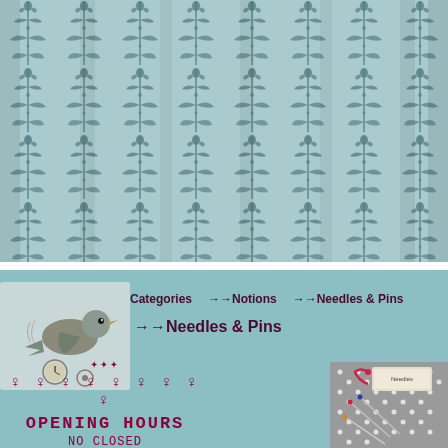[Figure (illustration): Vintage teal/blue damask wallpaper pattern with repeating floral and vine motifs on distressed background]
Categories  ✦Notions  ↪Needles & Pins
↪Needles & Pins
[Figure (illustration): Vintage bird illustration with clock and decorative elements on light background]
✦✦✦
♀ ♀ ♀ ♀ ♀ ♀ ♀ ♀ ♀
OPENING HOURS
NO CLOSED
[Figure (photo): Needles and pins product photo on grey dotted fabric background with red ribbon and tag label]